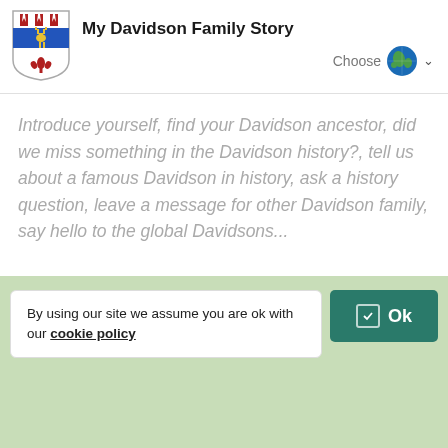[Figure (logo): Davidson family coat of arms shield with red chevrons, blue band with yellow stag, and red fleur-de-lis on white]
My Davidson Family Story
Choose (language globe icon with dropdown)
Introduce yourself, find your Davidson ancestor, did we miss something in the Davidson history?, tell us about a famous Davidson in history, ask a history question, leave a message for other Davidson family, say hello to the global Davidsons...
LIVE  Schedule a Davidson Video Meeting
By using our site we assume you are ok with our cookie policy
Ok